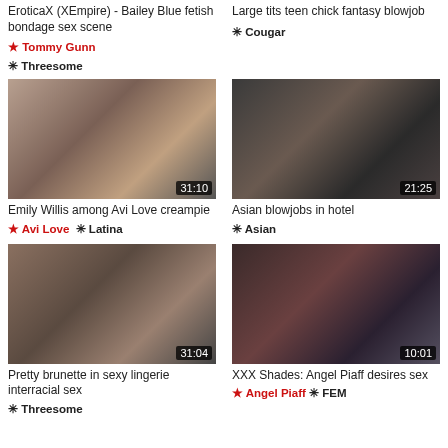EroticaX (XEmpire) - Bailey Blue fetish bondage sex scene
★ Tommy Gunn  ✳ Threesome
Large tits teen chick fantasy blowjob
✳ Cougar
[Figure (photo): Video thumbnail, duration 31:10]
[Figure (photo): Video thumbnail, duration 21:25]
Emily Willis among Avi Love creampie
★ Avi Love  ✳ Latina
Asian blowjobs in hotel
✳ Asian
[Figure (photo): Video thumbnail, duration 31:04]
[Figure (photo): Video thumbnail, duration 10:01]
Pretty brunette in sexy lingerie interracial sex
✳ Threesome
XXX Shades: Angel Piaff desires sex
★ Angel Piaff  ✳ FEM